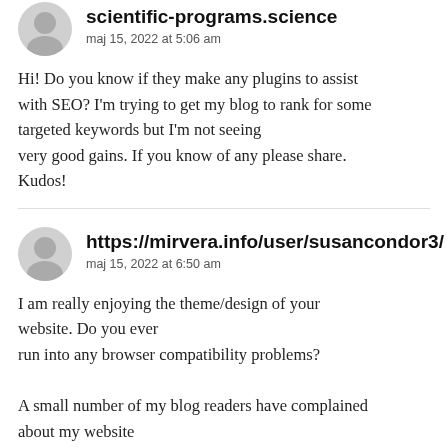scientific-programs.science
maj 15, 2022 at 5:06 am
Hi! Do you know if they make any plugins to assist with SEO? I'm trying to get my blog to rank for some targeted keywords but I'm not seeing very good gains. If you know of any please share. Kudos!
https://mirvera.info/user/susancondor3/
maj 15, 2022 at 6:50 am
I am really enjoying the theme/design of your website. Do you ever run into any browser compatibility problems?

A small number of my blog readers have complained about my website not working correctly in Explorer but looks great in Firefox. Do you have any recommendations to help fix this